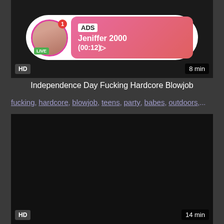[Figure (screenshot): Video thumbnail with ad overlay showing a live stream notification for 'Jeniffer 2000' with (00:12) timer, HD badge, 8 min duration]
Independence Day Fucking Hardcore Blowjob
fucking, hardcore, blowjob, teens, party, babes, outdoors,...
[Figure (screenshot): Dark video thumbnail with HD badge and 14 min duration label]